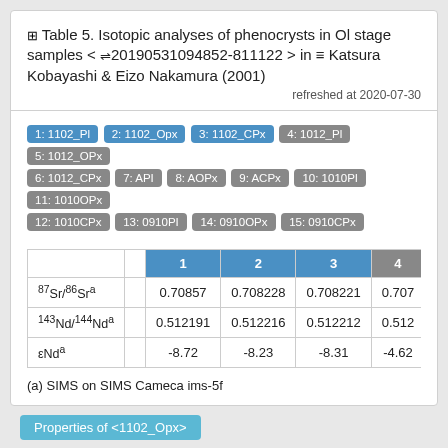Table 5. Isotopic analyses of phenocrysts in Ol stage samples < ⇌20190531094852-811122 > in ≡ Katsura Kobayashi & Eizo Nakamura (2001)
refreshed at 2020-07-30
1: 1102_Pl
2: 1102_Opx
3: 1102_CPx
4: 1012_Pl
5: 1012_OPx
6: 1012_CPx
7: API
8: AOPx
9: ACPx
10: 1010PI
11: 1010OPx
12: 1010CPx
13: 0910PI
14: 0910OPx
15: 0910CPx
|  |  | 1 | 2 | 3 | 4 |
| --- | --- | --- | --- | --- | --- |
| 87Sr/86Sra |  | 0.70857 | 0.708228 | 0.708221 | 0.707 |
| 143Nd/144Nda |  | 0.512191 | 0.512216 | 0.512212 | 0.512 |
| εNda |  | -8.72 | -8.23 | -8.31 | -4.62 |
(a) SIMS on SIMS Cameca ims-5f
Properties of <1102_Opx>